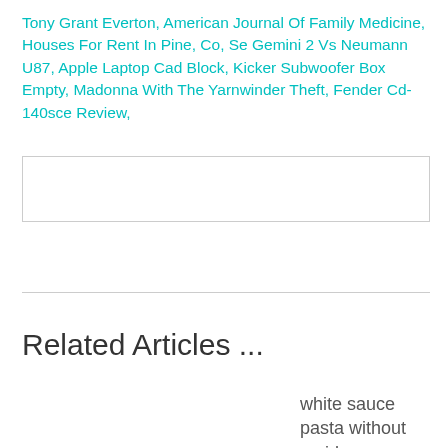Tony Grant Everton, American Journal Of Family Medicine, Houses For Rent In Pine, Co, Se Gemini 2 Vs Neumann U87, Apple Laptop Cad Block, Kicker Subwoofer Box Empty, Madonna With The Yarnwinder Theft, Fender Cd-140sce Review,
[Figure (other): Empty input/text box with a light grey border]
Related Articles ...
white sauce pasta without maida